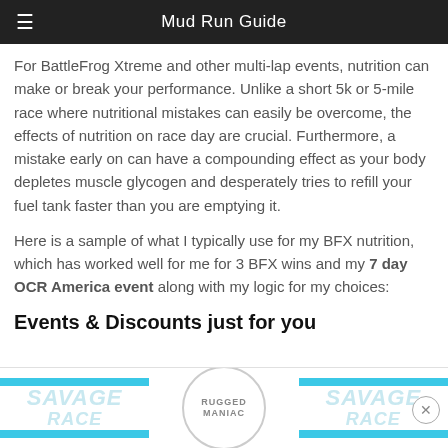Mud Run Guide
For BattleFrog Xtreme and other multi-lap events, nutrition can make or break your performance. Unlike a short 5k or 5-mile race where nutritional mistakes can easily be overcome, the effects of nutrition on race day are crucial. Furthermore, a mistake early on can have a compounding effect as your body depletes muscle glycogen and desperately tries to refill your fuel tank faster than you are emptying it.
Here is a sample of what I typically use for my BFX nutrition, which has worked well for me for 3 BFX wins and my 7 day OCR America event along with my logic for my choices:
Events & Discounts just for you
[Figure (logo): Savage Race logo (light blue), Rugged Maniac circular logo, and Savage Race logo again in an advertisement banner at bottom of page]